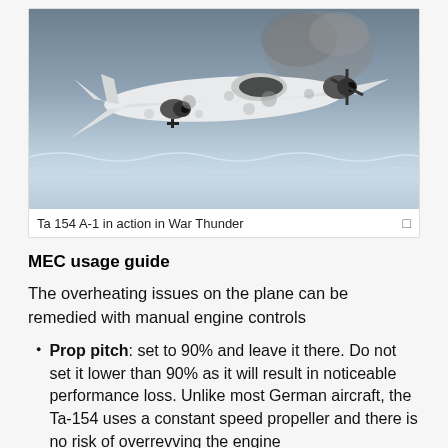[Figure (photo): Ta 154 A-1 aircraft with white winter camouflage and dark spots flying over a snowy landscape with smoke in the background, from the game War Thunder]
Ta 154 A-1 in action in War Thunder
MEC usage guide
The overheating issues on the plane can be remedied with manual engine controls
Prop pitch: set to 90% and leave it there. Do not set it lower than 90% as it will result in noticeable performance loss. Unlike most German aircraft, the Ta-154 uses a constant speed propeller and there is no risk of overrevving the engine